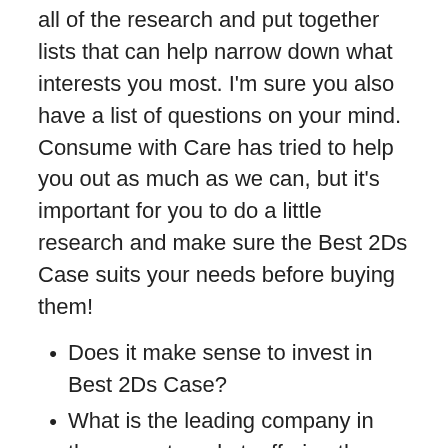all of the research and put together lists that can help narrow down what interests you most. I'm sure you also have a list of questions on your mind. Consume with Care has tried to help you out as much as we can, but it's important for you to do a little research and make sure the Best 2Ds Case suits your needs before buying them!
Does it make sense to invest in Best 2Ds Case?
What is the leading company in the current market, offering the best 2Ds Case?
What are the advantages of buying Best 2Ds Case?
What factors should be considered while picking the best keyword?
There are probably more questions you have. Among the best ways to determine your answers is to do your research and speak with people who are knowledgeable